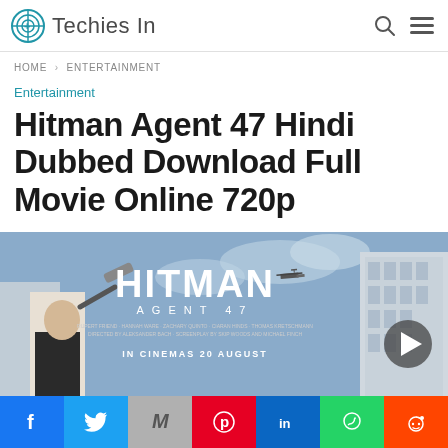Techies In
HOME > ENTERTAINMENT
Entertainment
Hitman Agent 47 Hindi Dubbed Download Full Movie Online 720p
[Figure (photo): Hitman Agent 47 movie poster showing a bald man in suit holding a gun with helicopter and city building in background. Text reads HITMAN AGENT 47 IN CINEMAS 20 AUGUST]
[Figure (other): Social sharing bar with Facebook, Twitter, Google Mail, Pinterest, LinkedIn, WhatsApp, and Reddit buttons]